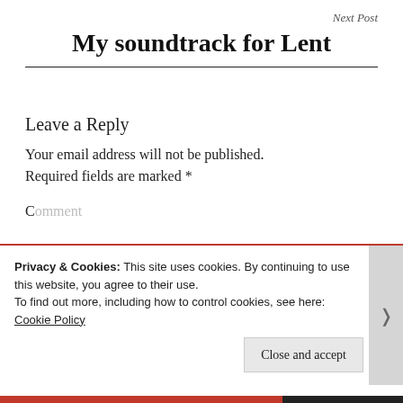Next Post
My soundtrack for Lent
Leave a Reply
Your email address will not be published. Required fields are marked *
Privacy & Cookies: This site uses cookies. By continuing to use this website, you agree to their use. To find out more, including how to control cookies, see here: Cookie Policy
Close and accept